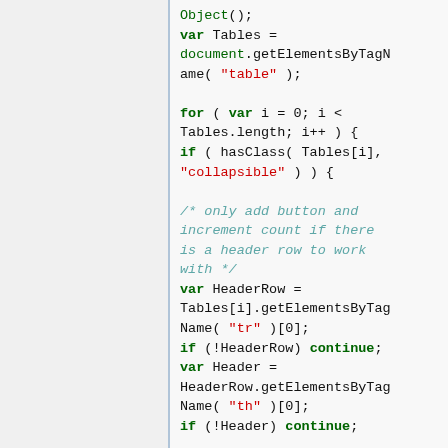Object();
var Tables = document.getElementsByTagName( "table" );

for ( var i = 0; i < Tables.length; i++ ) {
if ( hasClass( Tables[i], "collapsible" ) ) {

/* only add button and increment count if there is a header row to work with */
var HeaderRow = Tables[i].getElementsByTagName( "tr" )[0];
if (!HeaderRow) continue;
var Header = HeaderRow.getElementsByTagName( "th" )[0];
if (!Header) continue;

NavigationBoxes[
tableIndex ] = Tables[i];